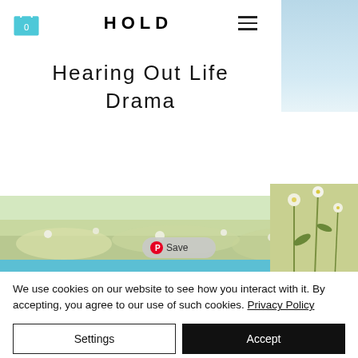HOLD
Hearing Out Life Drama
[Figure (screenshot): Meadow with wildflowers background image and teal blue bar overlay, with a Pinterest Save button overlay]
We use cookies on our website to see how you interact with it. By accepting, you agree to our use of such cookies. Privacy Policy
Settings
Accept